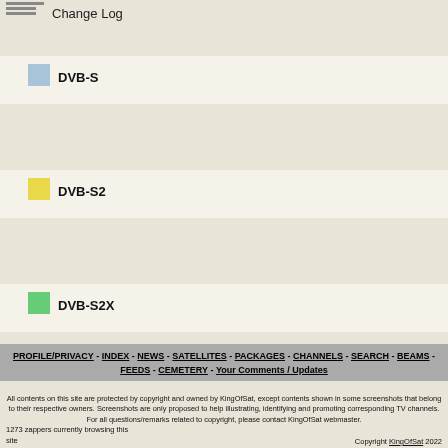Change Log
DVB-S
DVB-S2
DVB-S2X
PROFILE/PRIVACY - INDEX - NEWS - SATELLITES - PACKAGES - CHANNELS - SEARCH - BEAMS - FEEDS - CEMETERY - Your Comments / Updates
All contents on this site are protected by copyright and owned by KingOfSat, except contents shown in some screenshots that belong to their respective owners. Screenshots are only proposed to help illustrating, identifying and promoting corresponding TV channels. For all questions/remarks related to copyright, please contact KingOfSat webmaster.
1273 zappers currently browsing this site
Copyright KingOfSat 2022